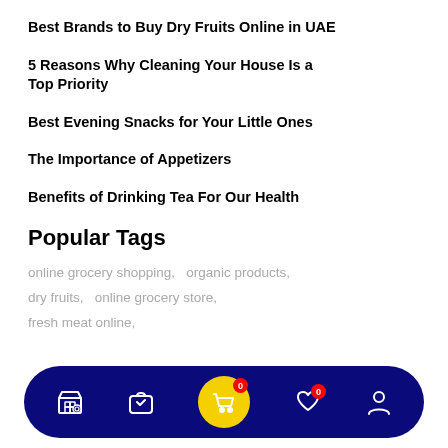Best Brands to Buy Dry Fruits Online in UAE
5 Reasons Why Cleaning Your House Is a Top Priority
Best Evening Snacks for Your Little Ones
The Importance of Appetizers
Benefits of Drinking Tea For Our Health
Popular Tags
online grocery shopping,   organic products,   dry fruits,   online grocery store,   fresh meat online,